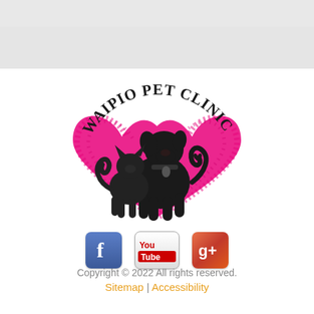[Figure (logo): Waipio Pet Clinic logo: silhouette of a dog and cat with a pink brushstroke heart behind them, text 'WAIPIO PET CLINIC' arched above]
[Figure (infographic): Social media icons: Facebook (blue f logo), YouTube (You Tube red/white logo), Google+ (g+ red/orange logo)]
Copyright © 2022 All rights reserved.
Sitemap | Accessibility